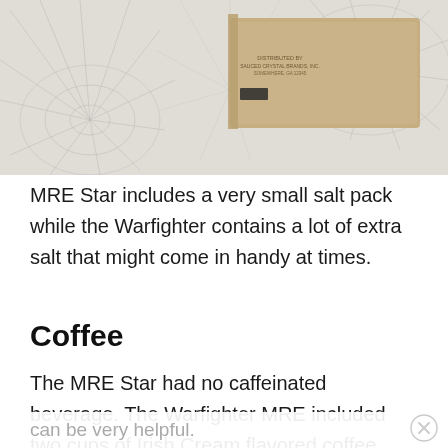[Figure (photo): Photograph of a crinkled paper or navigational chart with spider-web like line patterns, and a small tan/brown envelope or packet with text on it, placed on top of the chart.]
MRE Star includes a very small salt pack while the Warfighter contains a lot of extra salt that might come in handy at times.
Coffee
The MRE Star had no caffeinated beverage. The Warfighter MRE included two cups of Irish Cream flavored coffee. The flavor is quite sweet and not what I am used to for sure but it would be a lot better than nothing. Having a little caffeine to help with fatigue can be very helpful.